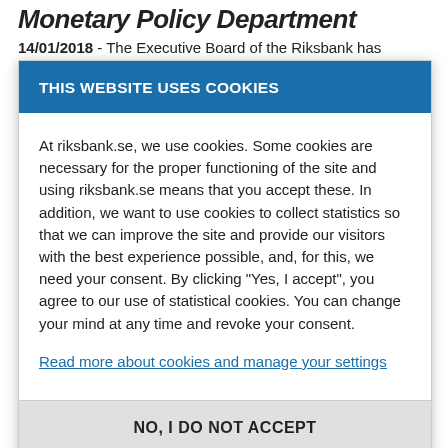Monetary Policy Department
14/01/2018 - The Executive Board of the Riksbank has
THIS WEBSITE USES COOKIES
At riksbank.se, we use cookies. Some cookies are necessary for the proper functioning of the site and using riksbank.se means that you accept these. In addition, we want to use cookies to collect statistics so that we can improve the site and provide our visitors with the best experience possible, and, for this, we need your consent. By clicking “Yes, I accept”, you agree to our use of statistical cookies. You can change your mind at any time and revoke your consent.
Read more about cookies and manage your settings
NO, I DO NOT ACCEPT
Thursday is the last day the